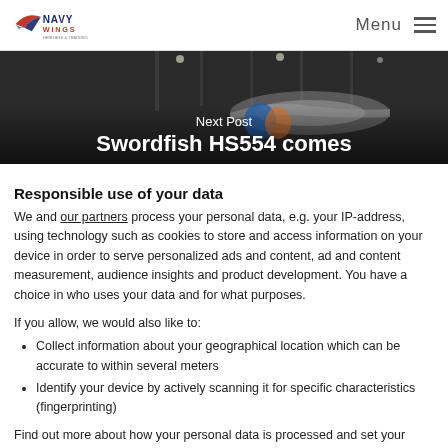NAVY WINGS | Menu
[Figure (photo): Dark background photo of aircraft in a hangar with 'Next Post' text and 'Swordfish HS554 comes' title overlaid in white]
Responsible use of your data
We and our partners process your personal data, e.g. your IP-address, using technology such as cookies to store and access information on your device in order to serve personalized ads and content, ad and content measurement, audience insights and product development. You have a choice in who uses your data and for what purposes.
If you allow, we would also like to:
Collect information about your geographical location which can be accurate to within several meters
Identify your device by actively scanning it for specific characteristics (fingerprinting)
Find out more about how your personal data is processed and set your preferences in the details section. You can change or withdraw your consent any time from the Cookie Declaration.
We use cookies to personalise content and ads, to provide social media features and to analyse our traffic. We also share information about your use of our site with our social media, advertising and analytics partners who may combine it with other information that you've provided to them or that they've collected from your use of their services.